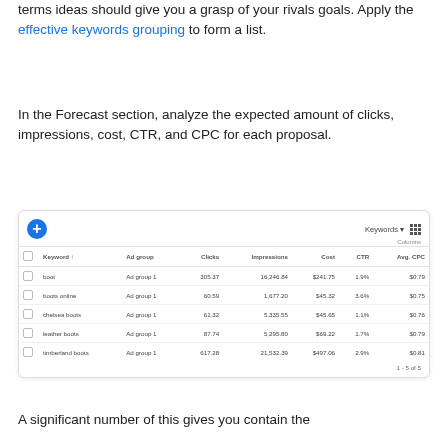terms ideas should give you a grasp of your rivals goals. Apply the effective keywords grouping to form a list.
In the Forecast section, analyze the expected amount of clicks, impressions, cost, CTR, and CPC for each proposal.
[Figure (screenshot): Google Ads Keyword Planner table showing keyword forecast data with columns: Keyword, Ad group, Clicks, Impressions, Cost, CTR, Avg. CPC. Rows: boot (Ad group 1, 305.37, 16,246.84, $241.75, 1.9%, $0.79), boots online (Ad group 1, 60.59, 1,677.20, $45.32, 3.6%, $0.75), chelsea boots (Ad group 1, 61.32, 5,335.55, $45.65, 1.1%, $0.76), leather boots (Ad group 1, 87.74, 5,295.80, $69.22, 1.7%, $0.79), timberland boots (Ad group 1, 617.28, 21,532.39, $497.06, 2.9%, $0.81). Pagination: 1-5 of 5.]
A significant number of this gives you contain the